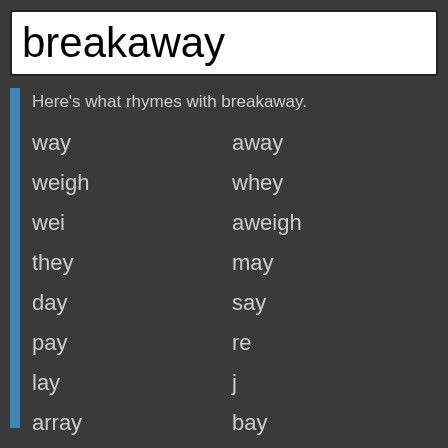breakaway
Here's what rhymes with breakaway.
way
away
weigh
whey
wei
aweigh
they
may
day
say
pay
re
lay
j
array
bay
gay
k
ray
che